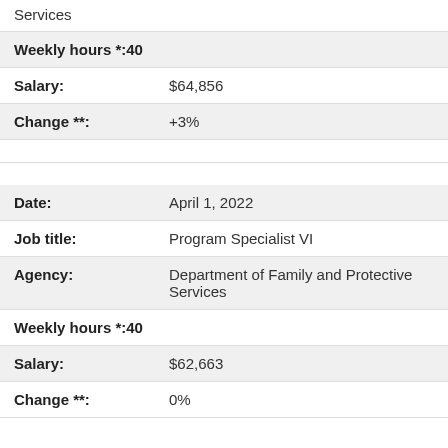Services
| Weekly hours *: | 40 |
| Salary: | $64,856 |
| Change **: | +3% |
| Date: | April 1, 2022 |
| Job title: | Program Specialist VI |
| Agency: | Department of Family and Protective Services |
| Weekly hours *: | 40 |
| Salary: | $62,663 |
| Change **: | 0% |